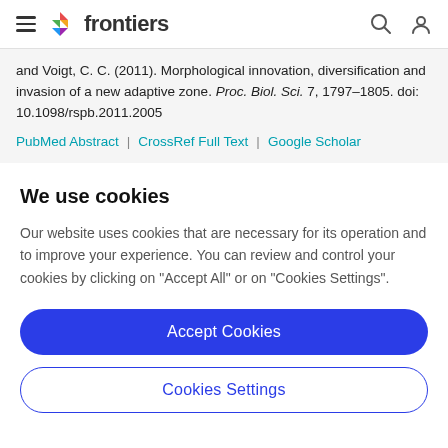frontiers
and Voigt, C. C. (2011). Morphological innovation, diversification and invasion of a new adaptive zone. Proc. Biol. Sci. 7, 1797–1805. doi: 10.1098/rspb.2011.2005
PubMed Abstract | CrossRef Full Text | Google Scholar
We use cookies
Our website uses cookies that are necessary for its operation and to improve your experience. You can review and control your cookies by clicking on "Accept All" or on "Cookies Settings".
Accept Cookies
Cookies Settings